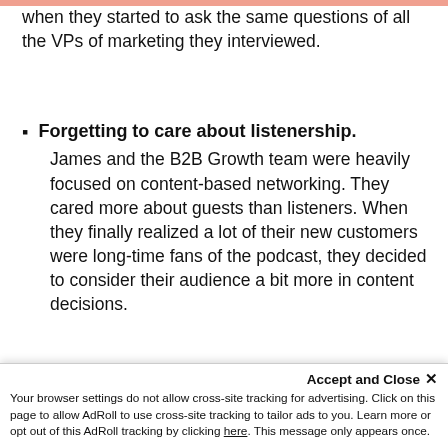when they started to ask the same questions of all the VPs of marketing they interviewed.
Forgetting to care about listenership. James and the B2B Growth team were heavily focused on content-based networking. They cared more about guests than listeners. When they finally realized a lot of their new customers were long-time fans of the podcast, they decided to consider their audience a bit more in content decisions.
The fix: Make "stickier" content by aligni...